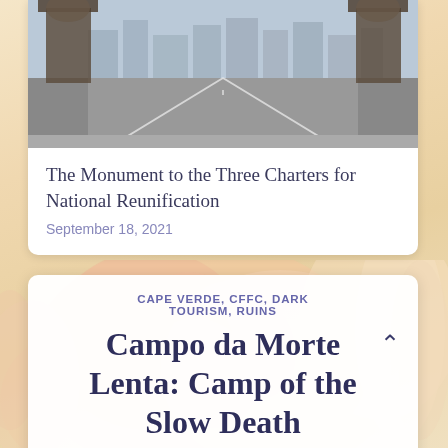[Figure (photo): Photograph of a wide empty road with monuments/statues on either side and city buildings in the background — likely Pyongyang, North Korea.]
The Monument to the Three Charters for National Reunification
September 18, 2021
CAPE VERDE, CFFC, DARK TOURISM, RUINS
Campo da Morte Lenta: Camp of the Slow Death
March 31, 2021 / 25 Comments